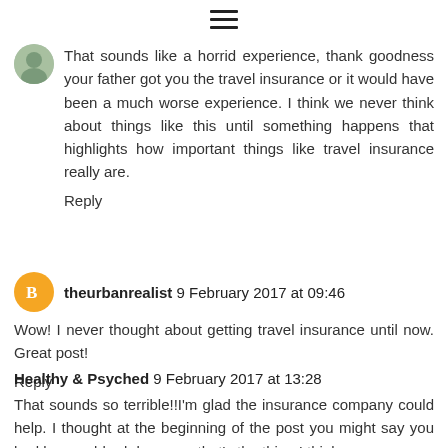[Figure (illustration): Hamburger menu icon (three horizontal lines)]
That sounds like a horrid experience, thank goodness your father got you the travel insurance or it would have been a much worse experience. I think we never think about things like this until something happens that highlights how important things like travel insurance really are.
Reply
theurbanrealist 9 February 2017 at 09:46
Wow! I never thought about getting travel insurance until now. Great post!
Reply
Healthy & Psyched 9 February 2017 at 13:28
That sounds so terrible!!I'm glad the insurance company could help. I thought at the beginning of the post you might say you had been robbed- because that's the thing I think about if I take out travel insurance!